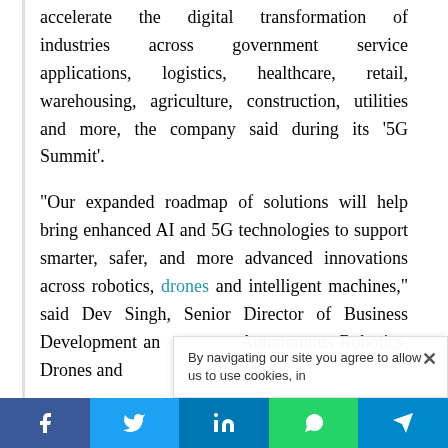accelerate the digital transformation of industries across government service applications, logistics, healthcare, retail, warehousing, agriculture, construction, utilities and more, the company said during its '5G Summit'.
“Our expanded roadmap of solutions will help bring enhanced AI and 5G technologies to support smarter, safer, and more advanced innovations across robotics, drones and intelligent machines,” said Dev Singh, Senior Director of Business Development and Head of Autonomous Robotics, Drones and
By navigating our site you agree to allow us to use cookies, in